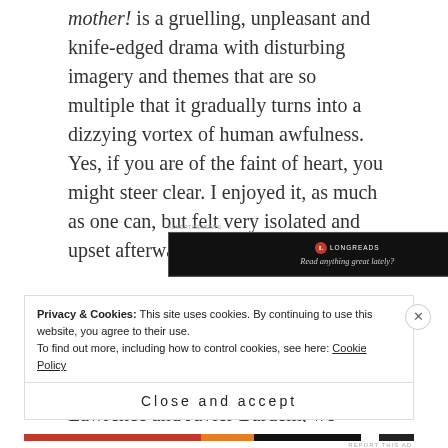mother! is a gruelling, unpleasant and knife-edged drama with disturbing imagery and themes that are so multiple that it gradually turns into a dizzying vortex of human awfulness. Yes, if you are of the faint of heart, you might steer clear. I enjoyed it, as much as one can, but felt very isolated and upset afterwards.
[Figure (other): Advertisement banner for Longreads with black background, red circular logo with 'L', text 'LONGREADS' and tagline 'Read anything great lately?']
The film is set entirely from within the house of our lead couple, Jennifer Lawrence and Javier Bardem, we
Privacy & Cookies: This site uses cookies. By continuing to use this website, you agree to their use. To find out more, including how to control cookies, see here: Cookie Policy
Close and accept